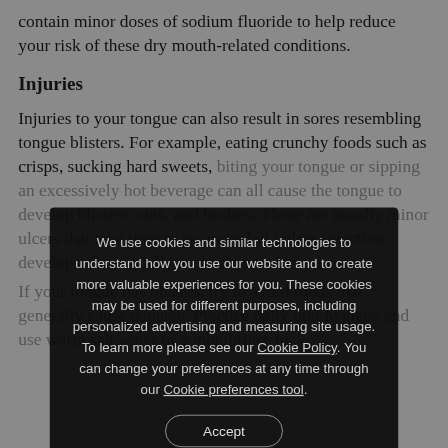contain minor doses of sodium fluoride to help reduce your risk of these dry mouth-related conditions.
Injuries
Injuries to your tongue can also result in sores resembling tongue blisters. For example, eating crunchy foods such as crisps, sucking hard sweets, biting your tongue or sipping an excessively hot beverage can all cause the tongue to develop blisters, cuts, and bruises. These are usually minor ulcers that take time to go away, but unless infection develops, they usually aren't a cause for concern.
If your tongue has blisters, try to avoid foods that generally cause damage. Practice daily oral hygiene and use warm salt water or a mouthrinse to
We use cookies and similar technologies to understand how you use our website and to create more valuable experiences for you. These cookies may be used for different purposes, including personalized advertising and measuring site usage. To learn more please see our Cookie Policy. You can change your preferences at any time through our Cookie preferences tool.